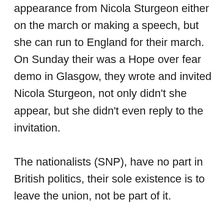appearance from Nicola Sturgeon either on the march or making a speech, but she can run to England for their march. On Sunday their was a Hope over fear demo in Glasgow, they wrote and invited Nicola Sturgeon, not only didn't she appear, but she didn't even reply to the invitation. The nationalists (SNP), have no part in British politics, their sole existence is to leave the union, not be part of it. What has these opinion polls shown us, Independence is achievable if it's May's deal or a hard Brexit. I haven't seen